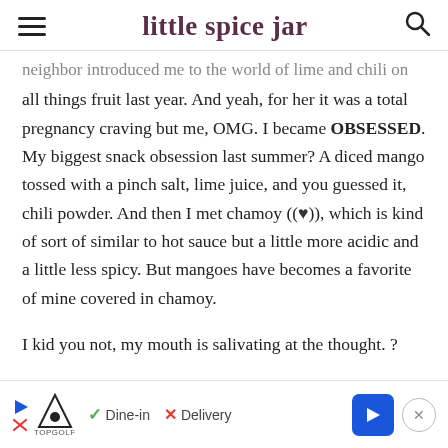little spice jar
neighbor introduced me to the world of lime and chili on all things fruit last year. And yeah, for her it was a total pregnancy craving but me, OMG. I became OBSESSED. My biggest snack obsession last summer? A diced mango tossed with a pinch salt, lime juice, and you guessed it, chili powder. And then I met chamoy ((♥)), which is kind of sort of similar to hot sauce but a little more acidic and a little less spicy. But mangoes have becomes a favorite of mine covered in chamoy.
I kid you not, my mouth is salivating at the thought. ?
[Figure (other): Advertisement banner for TopGolf showing Dine-in and Delivery options with navigation arrow]